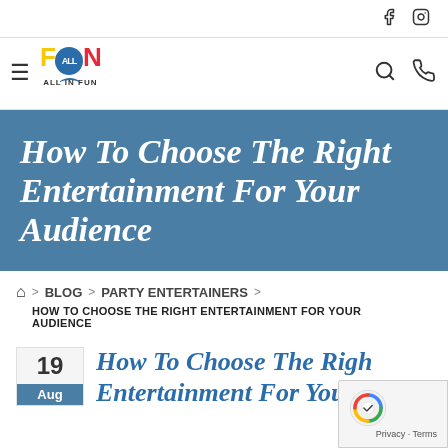Social icons: Facebook, Instagram
[Figure (logo): All In Fun logo with colorful text and globe graphic]
How To Choose The Right Entertainment For Your Audience
Home > BLOG > PARTY ENTERTAINERS >
HOW TO CHOOSE THE RIGHT ENTERTAINMENT FOR YOUR AUDIENCE
19 Aug How To Choose The Right Entertainment For Your...